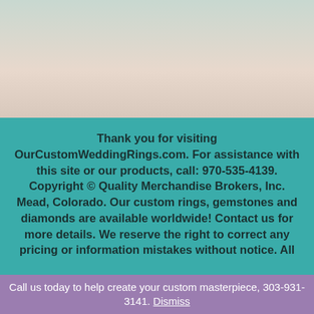[Figure (photo): Top section with gradient background (teal to beige) showing partial website content]
Thank you for visiting OurCustomWeddingRings.com. For assistance with this site or our products, call: 970-535-4139. Copyright © Quality Merchandise Brokers, Inc. Mead, Colorado. Our custom rings, gemstones and diamonds are available worldwide! Contact us for more details. We reserve the right to correct any pricing or information mistakes without notice. All
Call us today to help create your custom masterpiece, 303-931-3141. Dismiss